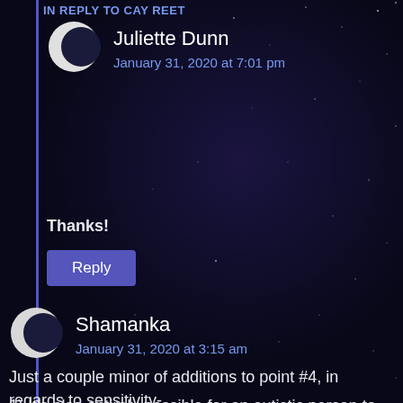IN REPLY TO CAY REET
Juliette Dunn
January 31, 2020 at 7:01 pm
Thanks!
Reply
Shamanka
January 31, 2020 at 3:15 am
Just a couple minor of additions to point #4, in regards to sensitivity-
1) It's also entirely possible for an autistic person to have their senses dulled by their autism, especially